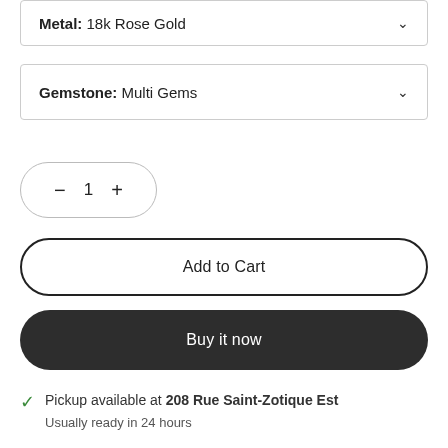Metal: 18k Rose Gold
Gemstone: Multi Gems
− 1 +
Add to Cart
Buy it now
Pickup available at 208 Rue Saint-Zotique Est
Usually ready in 24 hours